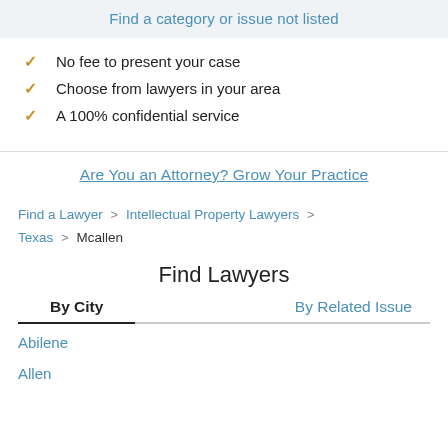Find a category or issue not listed
No fee to present your case
Choose from lawyers in your area
A 100% confidential service
Are You an Attorney? Grow Your Practice
Find a Lawyer > Intellectual Property Lawyers > Texas > Mcallen
Find Lawyers
By City
By Related Issue
Abilene
Allen